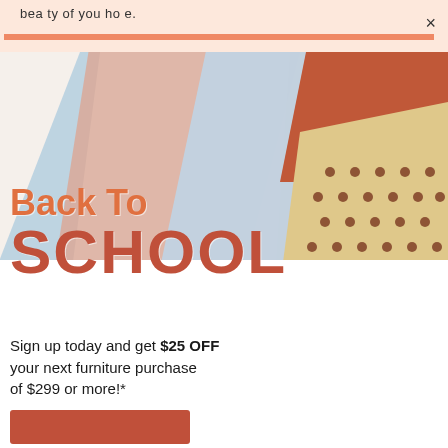beauty of your home.
[Figure (photo): Overlapping colorful notebooks/folders in blue, pink, beige with dots, and rust/terracotta colors, arranged as a back-to-school flat lay on white background.]
Back To SCHOOL
Sign up today and get $25 OFF your next furniture purchase of $299 or more!*